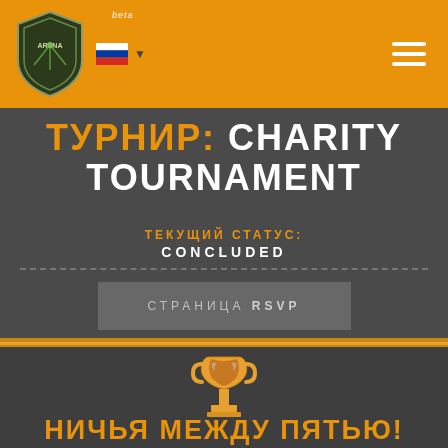ARENA beta — navigation header with logo, Russian flag, and hamburger menu
ТУРНИР: CHARITY TOURNAMENT
ТЕКУЩИЙ СТАТУС: CONCLUDED
СТРАНИЦА RSVP
[Figure (illustration): Trophy icon in gold/orange color]
НИЧЬЯ МЕЖДУ ПЯТЬЮ!